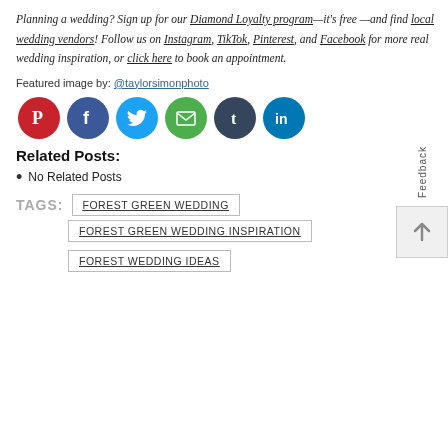Planning a wedding? Sign up for our Diamond Loyalty program—it's free —and find local wedding vendors! Follow us on Instagram, TikTok, Pinterest, and Facebook for more real wedding inspiration, or click here to book an appointment.
Featured image by: @taylorsimonphoto
[Figure (infographic): Row of six social media icons: Pinterest (red circle), Facebook (dark blue circle), Twitter (light blue circle), Email (green circle), Tumblr (dark navy circle), LinkedIn (blue circle)]
Related Posts:
No Related Posts
TAGS: FOREST GREEN WEDDING
FOREST GREEN WEDDING INSPIRATION
FOREST WEDDING IDEAS